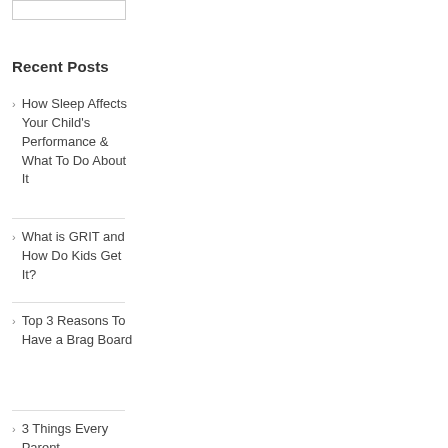Recent Posts
How Sleep Affects Your Child's Performance & What To Do About It
What is GRIT and How Do Kids Get It?
Top 3 Reasons To Have a Brag Board
3 Things Every Parent...